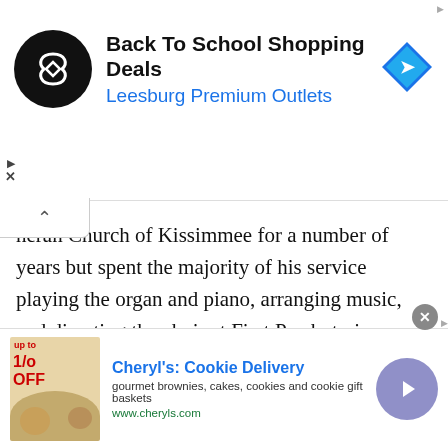[Figure (screenshot): Top advertisement banner: Back To School Shopping Deals, Leesburg Premium Outlets, with circular logo and blue diamond arrow icon]
heran Church of Kissimmee for a number of years but spent the majority of his service playing the organ and piano, arranging music, and directing the choir at First Presbyterian Church of Kissimmee. Outside of music, he loved watching sports, driving through the Rocky Mountains of Colorado, and playing golf. A man of few words, Mark channeled his love and communication through his musical fingers on the keys of a piano; fun, loud, and pure joy. He dedicated his life to music and making magical memories for countless strangers, friends, and family alike. He
[Figure (screenshot): Bottom advertisement banner: Cheryl's Cookie Delivery - gourmet brownies, cakes, cookies and cookie gift baskets, www.cheryls.com]